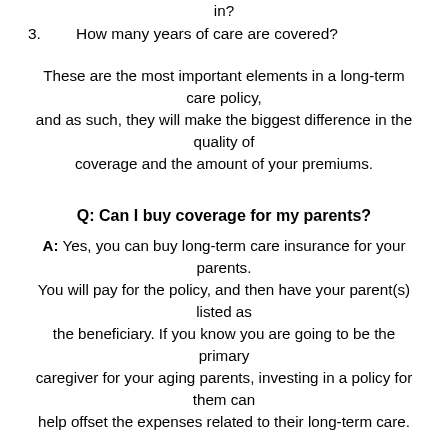in?
3.	How many years of care are covered?
These are the most important elements in a long-term care policy, and as such, they will make the biggest difference in the quality of coverage and the amount of your premiums.
Q: Can I buy coverage for my parents?
A: Yes, you can buy long-term care insurance for your parents. You will pay for the policy, and then have your parent(s) listed as the beneficiary. If you know you are going to be the primary caregiver for your aging parents, investing in a policy for them can help offset the expenses related to their long-term care.
Furthermore, buying long-term care insurance should always be a family affair, because you are going to need your family members